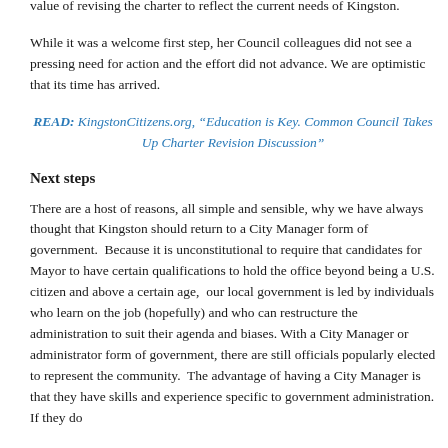value of revising the charter to reflect the current needs of Kingston.
While it was a welcome first step, her Council colleagues did not see a pressing need for action and the effort did not advance. We are optimistic that its time has arrived.
READ: KingstonCitizens.org, “Education is Key. Common Council Takes Up Charter Revision Discussion”
Next steps
There are a host of reasons, all simple and sensible, why we have always thought that Kingston should return to a City Manager form of government. Because it is unconstitutional to require that candidates for Mayor to have certain qualifications to hold the office beyond being a U.S. citizen and above a certain age, our local government is led by individuals who learn on the job (hopefully) and who can restructure the administration to suit their agenda and biases. With a City Manager or administrator form of government, there are still officials popularly elected to represent the community. The advantage of having a City Manager is that they have skills and experience specific to government administration. If they do